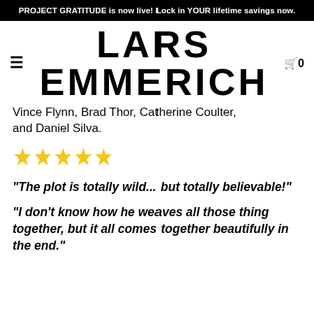PROJECT GRATITUDE is now live! Lock in YOUR lifetime savings now.
LARS EMMERICH
Vince Flynn, Brad Thor, Catherine Coulter, and Daniel Silva.
[Figure (infographic): Five gold/yellow star rating icons]
"The plot is totally wild... but totally believable!"
"I don't know how he weaves all those thing together, but it all comes together beautifully in the end."